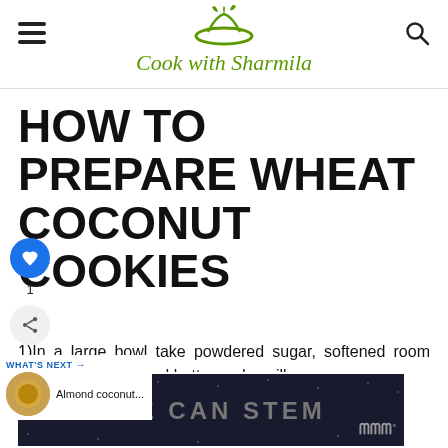Cook with Sharmila
HOW TO PREPARE WHEAT COCONUT COOKIES
1) In a large bowl take powdered sugar, softened room temperature unsalted butter and vanilla essence.
[Figure (screenshot): What's next promo with Almond coconut thumbnail]
[Figure (photo): SHE CAN STEM advertisement banner with dark background]